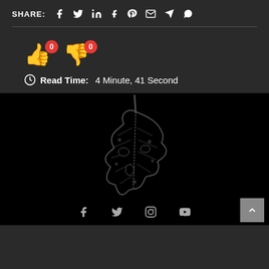SHARE: f t in t P ✉ ✈ ©
[Figure (infographic): Like and dislike buttons with count badges showing 0 each]
Read Time: 4 Minute, 41 Second
[Figure (illustration): Dark leaf skeleton illustration on black background]
Social media icons: Facebook, Twitter, Instagram, YouTube. Scroll-to-top button.